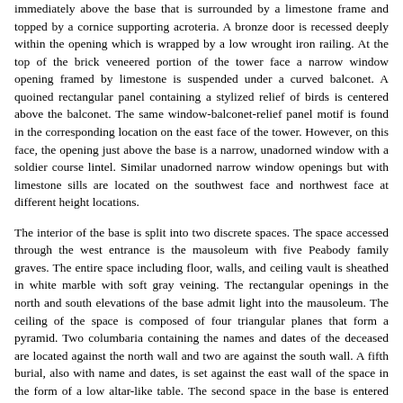immediately above the base that is surrounded by a limestone frame and topped by a cornice supporting acroteria. A bronze door is recessed deeply within the opening which is wrapped by a low wrought iron railing. At the top of the brick veneered portion of the tower face a narrow window opening framed by limestone is suspended under a curved balconet. A quoined rectangular panel containing a stylized relief of birds is centered above the balconet. The same window-balconet-relief panel motif is found in the corresponding location on the east face of the tower. However, on this face, the opening just above the base is a narrow, unadorned window with a soldier course lintel. Similar unadorned narrow window openings but with limestone sills are located on the southwest face and northwest face at different height locations.
The interior of the base is split into two discrete spaces. The space accessed through the west entrance is the mausoleum with five Peabody family graves. The entire space including floor, walls, and ceiling vault is sheathed in white marble with soft gray veining. The rectangular openings in the north and south elevations of the base admit light into the mausoleum. The ceiling of the space is composed of four triangular planes that form a pyramid. Two columbaria containing the names and dates of the deceased are located against the north wall and two are against the south wall. A fifth burial, also with name and dates, is set against the east wall of the space in the form of a low altar-like table. The second space in the base is entered through the door on the east elevation. This space has a concrete floor, tile brick walls, and a metal staircase that winds to the top of the structure.